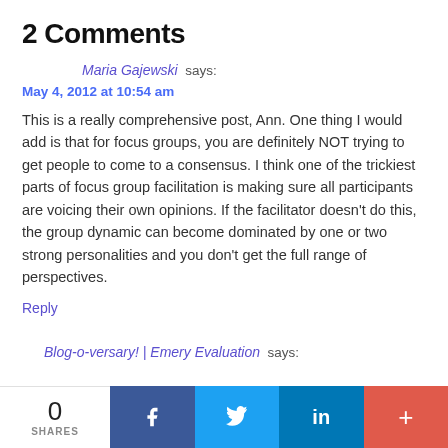2 Comments
Maria Gajewski says:
May 4, 2012 at 10:54 am
This is a really comprehensive post, Ann. One thing I would add is that for focus groups, you are definitely NOT trying to get people to come to a consensus. I think one of the trickiest parts of focus group facilitation is making sure all participants are voicing their own opinions. If the facilitator doesn't do this, the group dynamic can become dominated by one or two strong personalities and you don't get the full range of perspectives.
Reply
Blog-o-versary! | Emery Evaluation says:
0 SHARES  f  t  in  +